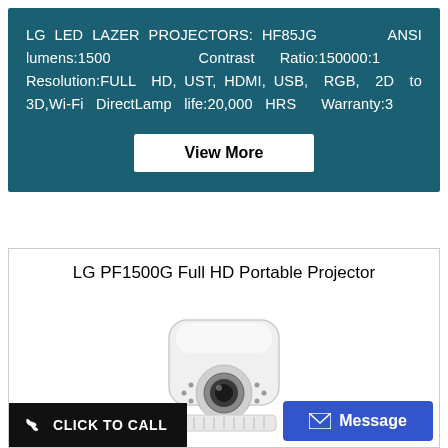LG LED LAZER PROJECTORS: HF85JG   ANSI lumens:1500   Contrast Ratio:150000:1   Resolution:FULL HD, UST, HDMI, USB, RGB, 2D to 3D,Wi-Fi DirectLamp life:20,000 HRS   Warranty:3
View More
LG PF1500G Full HD Portable Projector
[Figure (photo): LG PF1500G portable projector - white cylindrical device with lens and ventilation grille]
CLICK TO CALL
Message